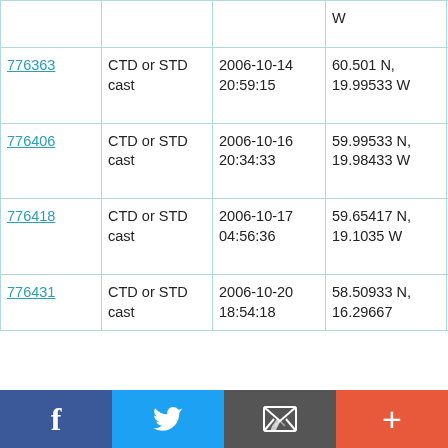| ID | Type | Date/Time | Location | Ship |
| --- | --- | --- | --- | --- |
|  |  |  | W | D312 |
| 776363 | CTD or STD cast | 2006-10-14 20:59:15 | 60.501 N, 19.99533 W | RRS Discovery D312 |
| 776406 | CTD or STD cast | 2006-10-16 20:34:33 | 59.99533 N, 19.98433 W | RRS Discovery D312 |
| 776418 | CTD or STD cast | 2006-10-17 04:56:36 | 59.65417 N, 19.1035 W | RRS Discovery D312 |
| 776431 | CTD or STD cast | 2006-10-20 18:54:18 | 58.50933 N, 16.29667 | D312 |